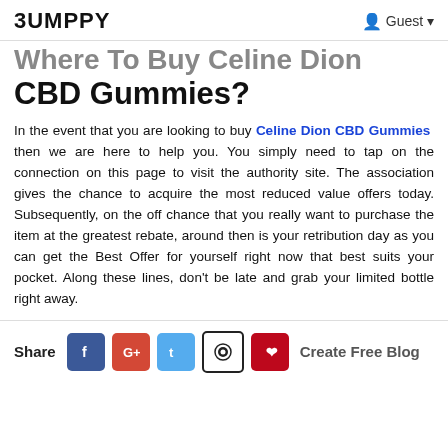BUMPPY  Guest
Where To Buy Celine Dion CBD Gummies?
In the event that you are looking to buy Celine Dion CBD Gummies then we are here to help you. You simply need to tap on the connection on this page to visit the authority site. The association gives the chance to acquire the most reduced value offers today. Subsequently, on the off chance that you really want to purchase the item at the greatest rebate, around then is your retribution day as you can get the Best Offer for yourself right now that best suits your pocket. Along these lines, don't be late and grab your limited bottle right away.
Share  [Facebook] [Google+] [Twitter] [Reddit] [Pinterest]  Create Free Blog